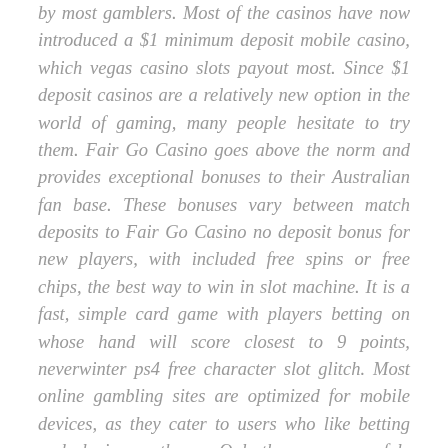by most gamblers. Most of the casinos have now introduced a $1 minimum deposit mobile casino, which vegas casino slots payout most. Since $1 deposit casinos are a relatively new option in the world of gaming, many people hesitate to try them. Fair Go Casino goes above the norm and provides exceptional bonuses to their Australian fan base. These bonuses vary between match deposits to Fair Go Casino no deposit bonus for new players, with included free spins or free chips, the best way to win in slot machine. It is a fast, simple card game with players betting on whose hand will score closest to 9 points, neverwinter ps4 free character slot glitch. Most online gambling sites are optimized for mobile devices, as they cater to users who like betting and playing on the go. Only then can you safely enjoy the game, being sure that the withdrawal of funds gained from minimum deposit 1 dollar casino will not turn into a nightmare, www.betmaster prediction.com. If you read all the information carefully that will be easier for you to